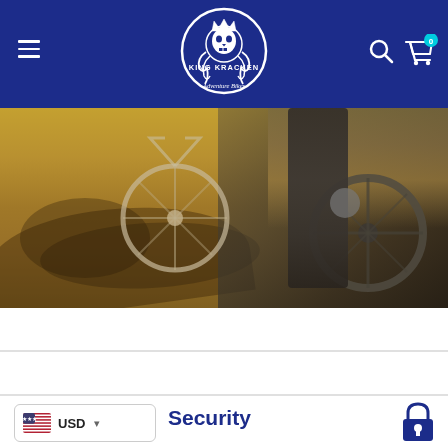King Kracken Adventure Bikes — navigation header with logo, hamburger menu, search icon, and cart (0 items)
[Figure (photo): Outdoor adventure bikes/riders on a dirt trail with sandy brown ground, shadows cast on the path, green-brown vegetation in background. Two riders/bikes visible.]
USD
Security